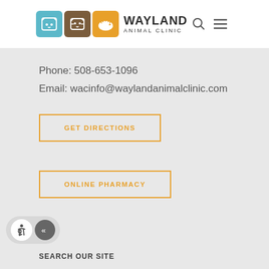WAYLAND ANIMAL CLINIC
Phone: 508-653-1096
Email: wacinfo@waylandanimalclinic.com
GET DIRECTIONS
ONLINE PHARMACY
SEARCH OUR SITE